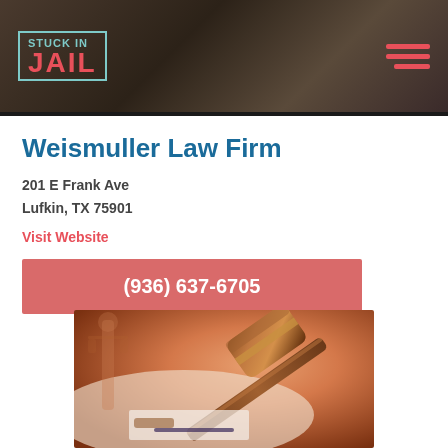Stuck In Jail
Weismuller Law Firm
201 E Frank Ave
Lufkin, TX 75901
Visit Website
(936) 637-6705
[Figure (photo): A wooden judge's gavel resting on a surface with a blurred Lady Justice statue in the background, warm orange-tinted lighting]